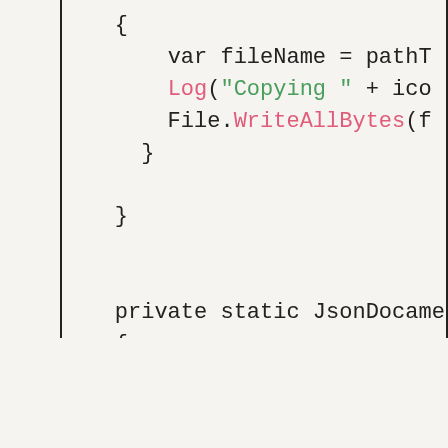[Figure (screenshot): Code snippet showing C# source code with syntax highlighting. Contains closing braces, a private static method declaration 'JsonDocameent', variable declarations using 'var', and method calls to CreateStickerIconElement. Keywords in dark, method names in pink/green.]